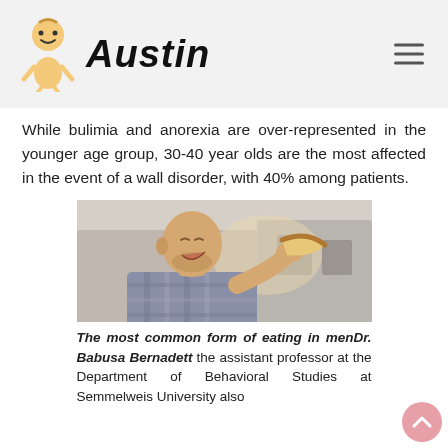Austin
While bulimia and anorexia are over-represented in the younger age group, 30-40 year olds are the most affected in the event of a wall disorder, with 40% among patients.
[Figure (photo): A bald man with a beard eating a piece of flatbread or pizza, wearing a plaid shirt, photographed outdoors.]
The most common form of eating in menDr. Babusa Bernadett the assistant professor at the Department of Behavioral Studies at Semmelweis University also